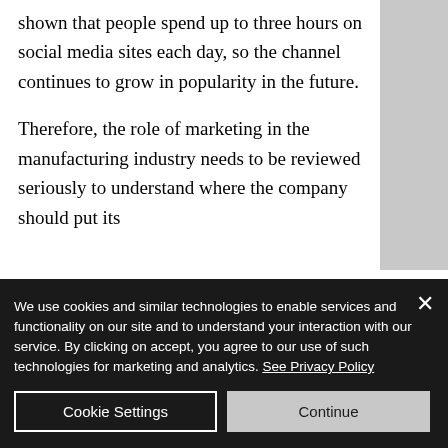shown that people spend up to three hours on social media sites each day, so the channel continues to grow in popularity in the future.

Therefore, the role of marketing in the manufacturing industry needs to be reviewed seriously to understand where the company should put its
We use cookies and similar technologies to enable services and functionality on our site and to understand your interaction with our service. By clicking on accept, you agree to our use of such technologies for marketing and analytics. See Privacy Policy